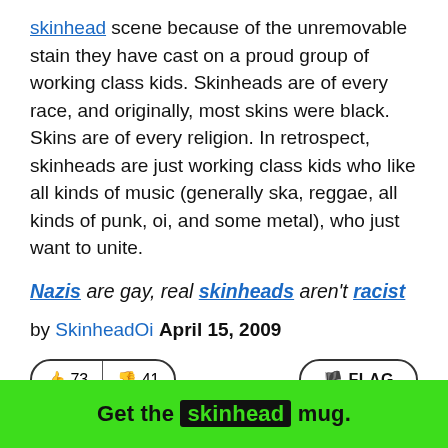skinhead scene because of the unremovable stain they have cast on a proud group of working class kids. Skinheads are of every race, and originally, most skins were black. Skins are of every religion. In retrospect, skinheads are just working class kids who like all kinds of music (generally ska, reggae, all kinds of punk, oi, and some metal), who just want to unite.
Nazis are gay, real skinheads aren't racist
by SkinheadOi April 15, 2009
[Figure (other): Vote buttons: thumbs up 73, thumbs down 41, and a FLAG button]
Get the skinhead mug.